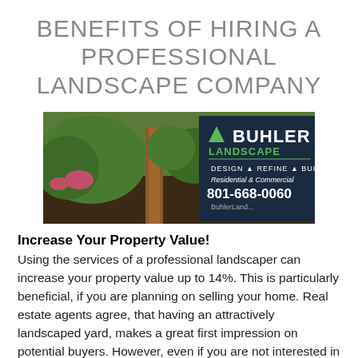BENEFITS OF HIRING A PROFESSIONAL LANDSCAPE COMPANY
[Figure (photo): Outdoor landscape scene with a tree trunk in the foreground, green shrubs and colorful plants in the background. On the right, a dark sign reading 'BUHLER LANDSCAPE DESIGN REFINE BUILD, Residential & Commercial, 801-668-0060, BuhlerLand...']
Increase Your Property Value!
Using the services of a professional landscaper can increase your property value up to 14%. This is particularly beneficial, if you are planning on selling your home. Real estate agents agree, that having an attractively landscaped yard, makes a great first impression on potential buyers. However, even if you are not interested in selling your property, hiring a professional still makes sense. Imagine how pleasing it